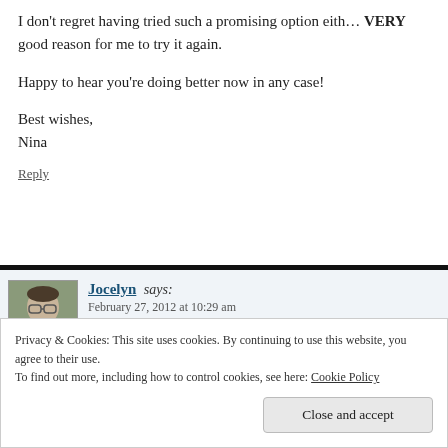I don’t regret having tried such a promising option eith... VERY good reason for me to try it again.

Happy to hear you’re doing better now in any case!

Best wishes,
Nina
Reply
Jocelyn says:
February 27, 2012 at 10:29 am
Wow, Nina, that’s interesting. Five months
Privacy & Cookies: This site uses cookies. By continuing to use this website, you agree to their use.
To find out more, including how to control cookies, see here: Cookie Policy
Close and accept